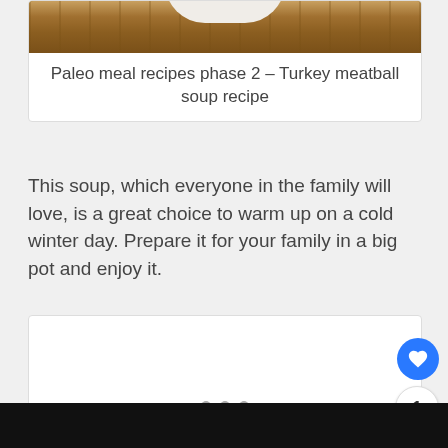[Figure (photo): Wooden table background with white bowl/dish at top of card]
Paleo meal recipes phase 2 – Turkey meatball soup recipe
This soup, which everyone in the family will love, is a great choice to warm up on a cold winter day. Prepare it for your family in a big pot and enjoy it.
[Figure (screenshot): Slideshow card with pagination dots and social action buttons (like heart, count 1, share)]